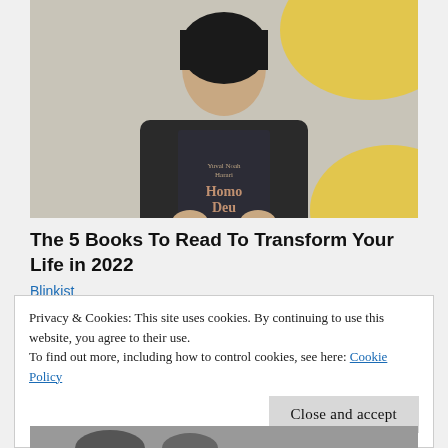[Figure (photo): Person holding up a dark book titled 'Homo Deus' by Yuval Noah Harari, covering their lower face. Background has yellow geometric shapes on a light gray/beige surface.]
The 5 Books To Read To Transform Your Life in 2022
Blinkist
Privacy & Cookies: This site uses cookies. By continuing to use this website, you agree to their use.
To find out more, including how to control cookies, see here: Cookie Policy
Close and accept